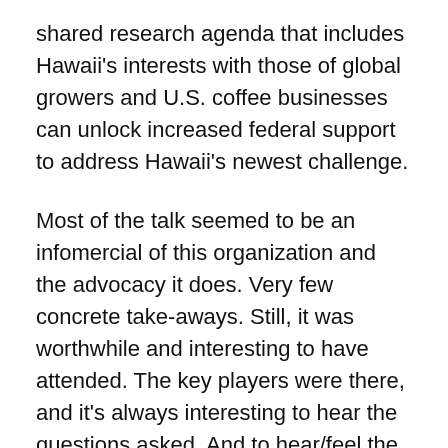shared research agenda that includes Hawaii's interests with those of global growers and U.S. coffee businesses can unlock increased federal support to address Hawaii's newest challenge.
Most of the talk seemed to be an infomercial of this organization and the advocacy it does. Very few concrete take-aways. Still, it was worthwhile and interesting to have attended. The key players were there, and it's always interesting to hear the questions asked. And to hear/feel the angst, "What do we do if Coffee Leaf Rust kills our trees?"
World Coffee Research (WCR) is only a ten year old organization, mostly funded by coffee roasters. They're trying to get more research money to be used for coffee. In the presentation, she stated that there are 6,640 varieties of strawberries and 111 varieties of coffee (including both Arabica and Robusta within